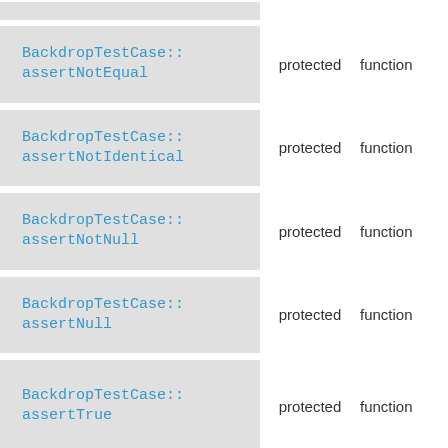| Name | Access | Type |
| --- | --- | --- |
| BackdropTestCase::assertNotEqual | protected | function |
| BackdropTestCase::assertNotIdentical | protected | function |
| BackdropTestCase::assertNotNull | protected | function |
| BackdropTestCase::assertNull | protected | function |
| BackdropTestCase::assertTrue | protected | function |